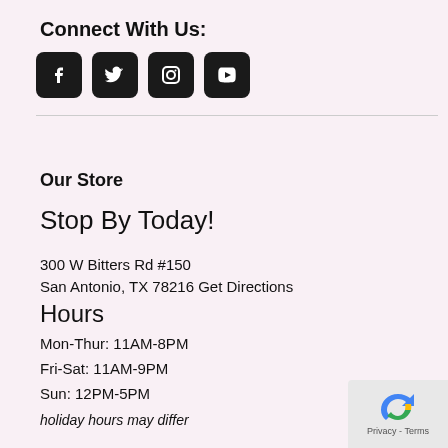Connect With Us:
[Figure (illustration): Four social media icons: Facebook, Twitter, Instagram, YouTube — dark rounded square buttons]
Our Store
Stop By Today!
300 W Bitters Rd #150
San Antonio, TX 78216 Get Directions
Hours
Mon-Thur:  11AM-8PM
Fri-Sat:  11AM-9PM
Sun: 12PM-5PM
holiday hours may differ